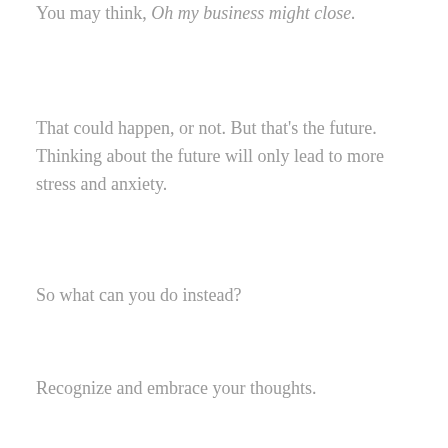You may think, Oh my business might close.
That could happen, or not. But that's the future. Thinking about the future will only lead to more stress and anxiety.
So what can you do instead?
Recognize and embrace your thoughts.